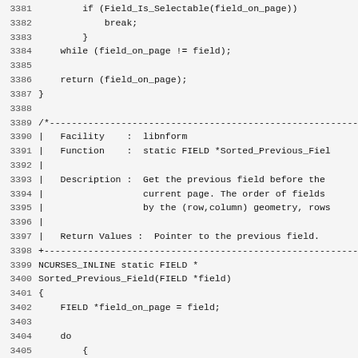Source code listing, lines 3381-3413, C code for ncurses libnform library showing Sorted_Previous_Field function and a comment block.